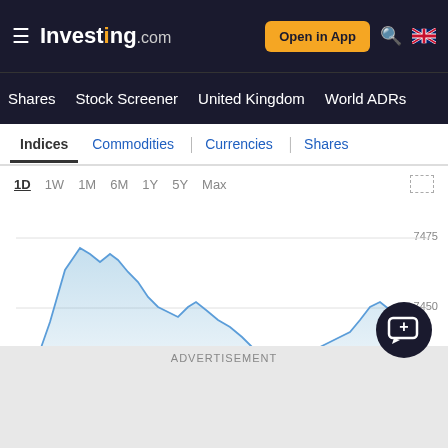Investing.com — Open in App — Search — UK Flag
Shares | Stock Screener | United Kingdom | World ADRs
[Figure (line-chart): Intraday chart — FTSE 100]
| Index | Price | Change | % Change |
| --- | --- | --- | --- |
| FTSE 100 | 7,438.32 | +11.01 | +0... |
| DAX | 13,125.57 | +232.58 | +1... |
ADVERTISEMENT